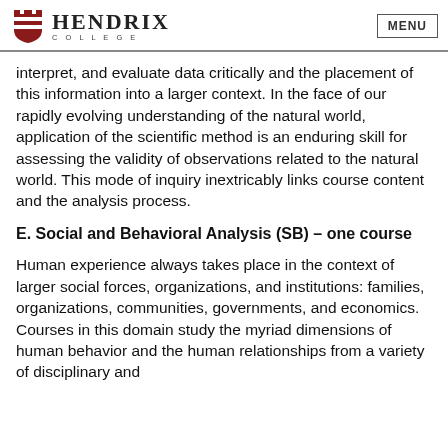HENDRIX COLLEGE | MENU
interpret, and evaluate data critically and the placement of this information into a larger context. In the face of our rapidly evolving understanding of the natural world, application of the scientific method is an enduring skill for assessing the validity of observations related to the natural world. This mode of inquiry inextricably links course content and the analysis process.
E. Social and Behavioral Analysis (SB) – one course
Human experience always takes place in the context of larger social forces, organizations, and institutions: families, organizations, communities, governments, and economics. Courses in this domain study the myriad dimensions of human behavior and the human relationships from a variety of disciplinary and